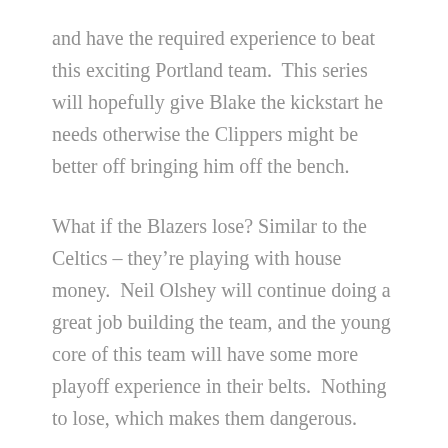and have the required experience to beat this exciting Portland team.  This series will hopefully give Blake the kickstart he needs otherwise the Clippers might be better off bringing him off the bench.
What if the Blazers lose? Similar to the Celtics – they're playing with house money.  Neil Olshey will continue doing a great job building the team, and the young core of this team will have some more playoff experience in their belts.  Nothing to lose, which makes them dangerous.